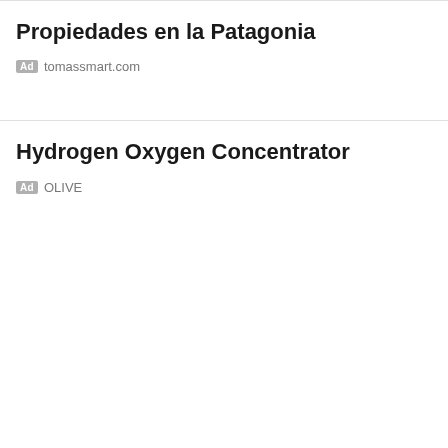Propiedades en la Patagonia
Ad tomassmart.com
Hydrogen Oxygen Concentrator
Ad OLIVE